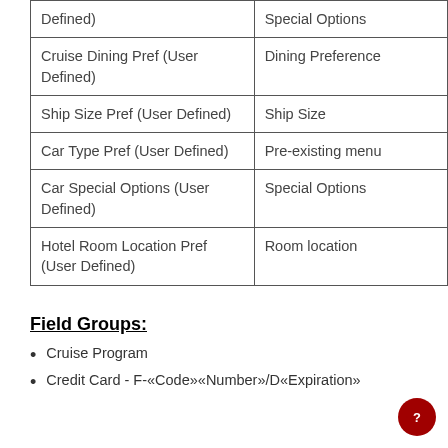| Defined) | Special Options |
| Cruise Dining Pref (User Defined) | Dining Preference |
| Ship Size Pref (User Defined) | Ship Size |
| Car Type Pref (User Defined) | Pre-existing menu |
| Car Special Options (User Defined) | Special Options |
| Hotel Room Location Pref (User Defined) | Room location |
Field Groups:
Cruise Program
Credit Card - F-«Code»«Number»/D«Expiration»